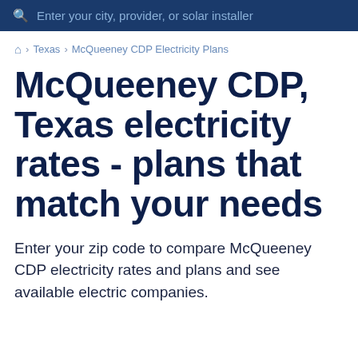Enter your city, provider, or solar installer
🏠 › Texas › McQueeney CDP Electricity Plans
McQueeney CDP, Texas electricity rates - plans that match your needs
Enter your zip code to compare McQueeney CDP electricity rates and plans and see available electric companies.